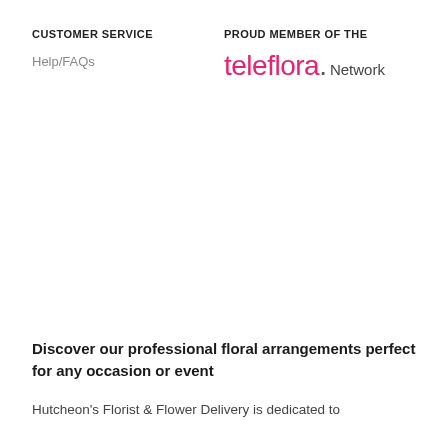CUSTOMER SERVICE
Help/FAQs
PROUD MEMBER OF THE
[Figure (logo): teleflora. Network logo — 'teleflora' in pink/magenta script-style font followed by a period and 'Network' in dark grey]
Discover our professional floral arrangements perfect for any occasion or event
Hutcheon's Florist & Flower Delivery is dedicated to